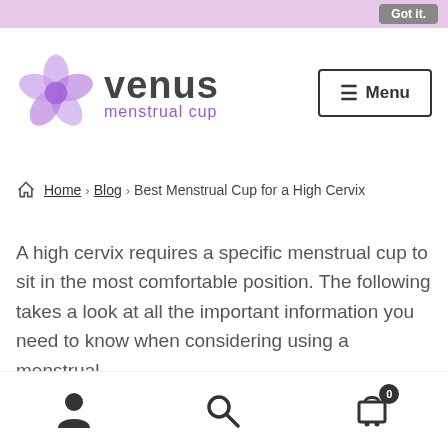Got it.
[Figure (logo): Venus Menstrual Cup logo with purple flower and text]
Menu
Home › Blog › Best Menstrual Cup for a High Cervix
A high cervix requires a specific menstrual cup to sit in the most comfortable position. The following takes a look at all the important information you need to know when considering using a menstrual
User icon, Search icon, Cart (0)